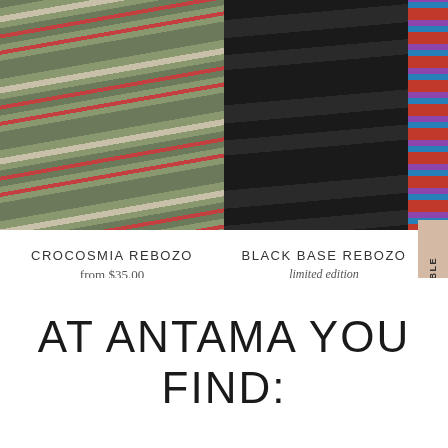[Figure (photo): Close-up of a woven rebozo with green and red stripe pattern on white background]
[Figure (photo): Close-up of a black base rebozo with colorful accent stripes on white background]
CROCOSMIA REBOZO
from $35.00
BLACK BASE REBOZO
limited edition
from $32.00
NOTIFY WHEN AVAILABLE
AT ANTAMA YOU FIND: